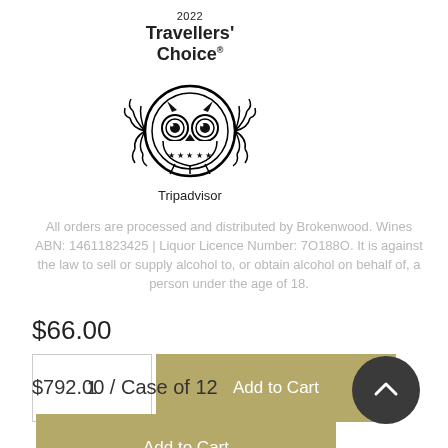[Figure (logo): 2022 Travellers' Choice Tripadvisor award logo with owl emblem and laurel wreath]
All orders are processed and distributed by Brokenwood. Wines ABN: 14611823425 | Liquor Licence Number: 7O188O. It is against the law to sell or supply alcohol to, or obtain alcohol on behalf of, a person under the age of 18.
$66.00
1
Add to Cart
$792.00 / Case of 12
Add to Cart